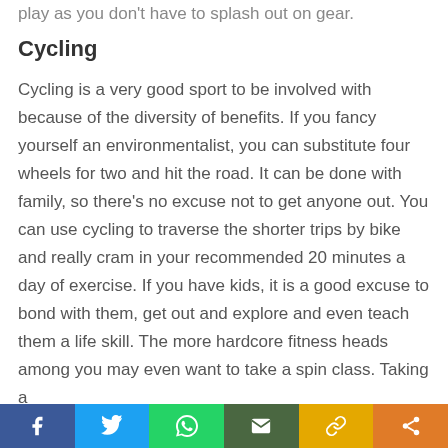play as you don't have to splash out on gear.
Cycling
Cycling is a very good sport to be involved with because of the diversity of benefits. If you fancy yourself an environmentalist, you can substitute four wheels for two and hit the road. It can be done with family, so there's no excuse not to get anyone out. You can use cycling to traverse the shorter trips by bike and really cram in your recommended 20 minutes a day of exercise. If you have kids, it is a good excuse to bond with them, get out and explore and even teach them a life skill. The more hardcore fitness heads among you may even want to take a spin class. Taking a
Share bar: Facebook, Twitter, WhatsApp, Email, Copy link, Share